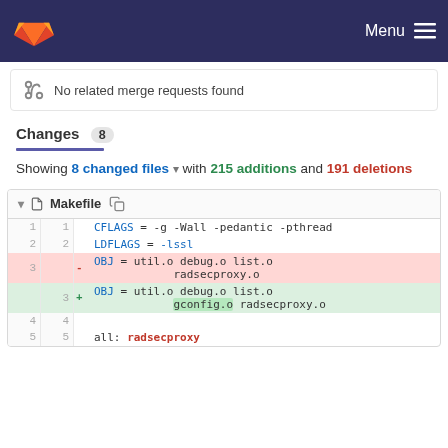GitLab — Menu
No related merge requests found
Changes 8
Showing 8 changed files with 215 additions and 191 deletions
| old line | new line | diff | code |
| --- | --- | --- | --- |
| 1 | 1 |  | CFLAGS = -g -Wall -pedantic -pthread |
| 2 | 2 |  | LDFLAGS = -lssl |
| 3 |  | - | OBJ = util.o debug.o list.o radsecproxy.o |
|  | 3 | + | OBJ = util.o debug.o list.o gconfig.o radsecproxy.o |
| 4 | 4 |  |  |
| 5 | 5 |  | all: radsecproxy |